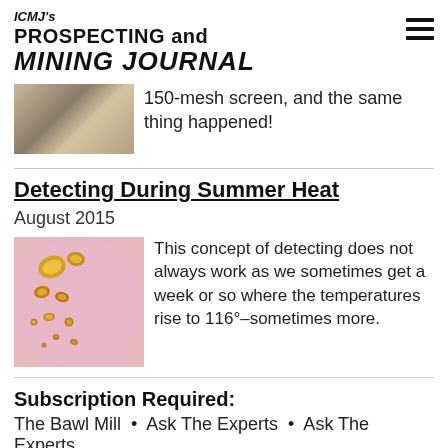ICMJ's PROSPECTING and MINING JOURNAL
150-mesh screen, and the same thing happened!
Detecting During Summer Heat
August 2015
[Figure (photo): Photo of gold nuggets on a pink surface]
This concept of detecting does not always work as we sometimes get a week or so where the temperatures rise to 116°–sometimes more.
Subscription Required:
The Bawl Mill  •  Ask The Experts  •  Ask The Experts